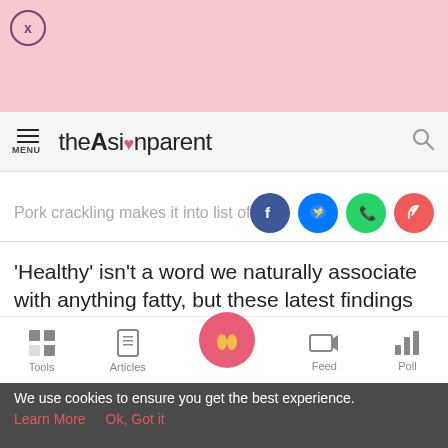[Figure (screenshot): Pink ad banner with close (X) button in top-left corner]
theAsianparent - menu icon and search icon
Pork crackling makes it into list of top
[Figure (infographic): Social sharing icons: Facebook, Messenger, WhatsApp, Share]
'Healthy' isn't a word we naturally associate with anything fatty, but these latest findings might begin to change this perception. The health benefits of pork crackling might come
[Figure (infographic): Bottom navigation bar with Tools, Articles, Home (baby feet icon), Feed, Poll]
We use cookies to ensure you get the best experience.
Learn More   Ok, Got it